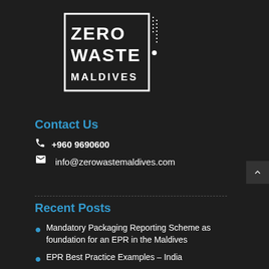[Figure (logo): Zero Waste Maldives logo: white square border with the text ZERO WASTE in large bold white letters and MALDIVES below, with a decorative dotted vertical element on the right side of the box]
Contact Us
📞 +960 9690600
✉ info@zerowastemaldives.com
Recent Posts
Mandatory Packaging Reporting Scheme as foundation for an EPR in the Maldives
EPR Best Practice Examples – India